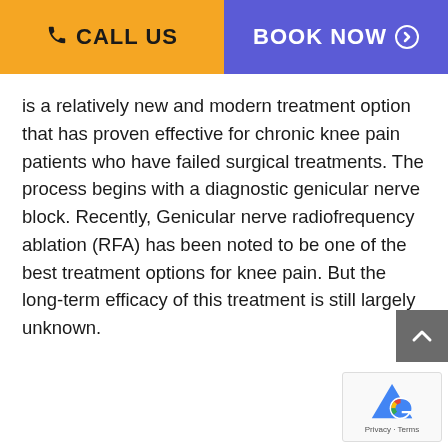CALL US | BOOK NOW
is a relatively new and modern treatment option that has proven effective for chronic knee pain patients who have failed surgical treatments. The process begins with a diagnostic genicular nerve block. Recently, Genicular nerve radiofrequency ablation (RFA) has been noted to be one of the best treatment options for knee pain. But the long-term efficacy of this treatment is still largely unknown.